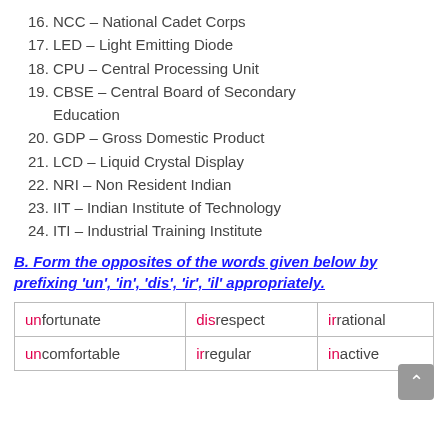16. NCC – National Cadet Corps
17. LED – Light Emitting Diode
18. CPU – Central Processing Unit
19. CBSE – Central Board of Secondary Education
20. GDP – Gross Domestic Product
21. LCD – Liquid Crystal Display
22. NRI – Non Resident Indian
23. IIT – Indian Institute of Technology
24. ITI – Industrial Training Institute
B. Form the opposites of the words given below by prefixing 'un', 'in', 'dis', 'ir', 'il' appropriately.
| unfortunate | disrespect | irrational |
| uncomfortable | irregular | inactive |